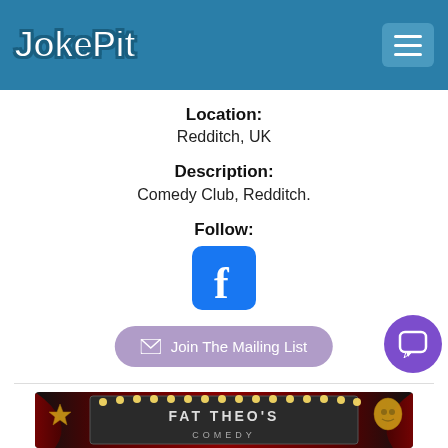JokePit
Location:
Redditch, UK
Description:
Comedy Club, Redditch.
Follow:
[Figure (logo): Facebook logo icon - blue rounded square with white 'f' letter]
Join The Mailing List
[Figure (photo): Fat Theo's Comedy Club promotional banner with theater curtains, gold star and comedy mask, lights marquee showing 'FAT THEO'S COMEDY CLUB']